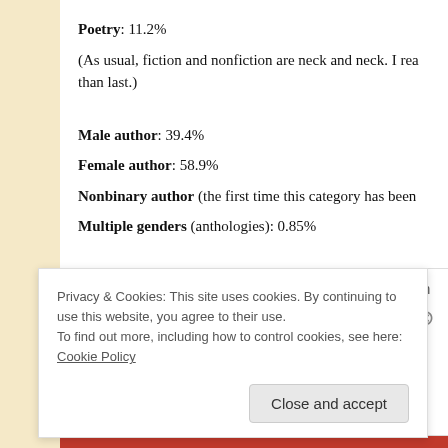Poetry: 11.2%
(As usual, fiction and nonfiction are neck and neck. I rea than last.)
Male author: 39.4%
Female author: 58.9%
Nonbinary author (the first time this category has been
Multiple genders (anthologies): 0.85%
Privacy & Cookies: This site uses cookies. By continuing to use this website, you agree to their use. To find out more, including how to control cookies, see here: Cookie Policy